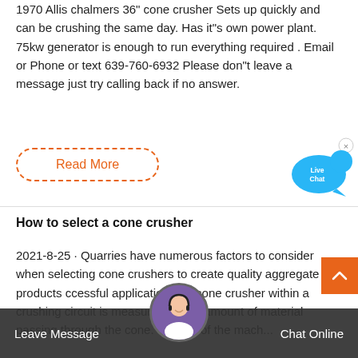1970 Allis chalmers 36" cone crusher Sets up quickly and can be crushing the same day. Has it"s own power plant. 75kw generator is enough to run everything required . Email or Phone or text 639-760-6932 Please don"t leave a message just try calling back if no answer.
Read More
[Figure (illustration): Live Chat bubble icon in blue with 'Live Chat' text and an X close button]
How to select a cone crusher
2021-8-25 · Quarries have numerous factors to consider when selecting cone crushers to create quality aggregate products ccessful application of a cone crusher within a crushing circuit is measured by the amount of material passing through the cone. er draw of the machine the f the s coming rcuit and the shape of the product.
[Figure (photo): Customer support avatar - woman with headset]
Leave Message
Chat Online